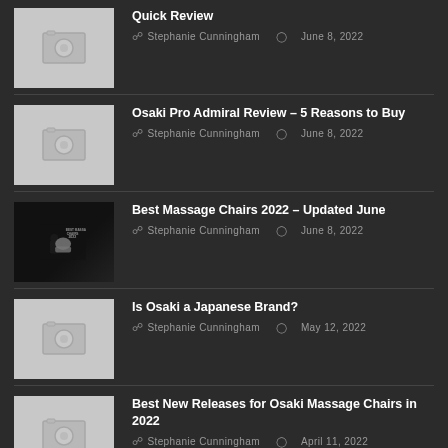Quick Review — Stephanie Cunningham — June 8, 2022
Osaki Pro Admiral Review – 5 Reasons to Buy — Stephanie Cunningham — June 8, 2022
Best Massage Chairs 2022 – Updated June — Stephanie Cunningham — June 8, 2022
Is Osaki a Japanese Brand? — Stephanie Cunningham — May 12, 2022
Best New Releases for Osaki Massage Chairs in 2022 — Stephanie Cunningham — April 11, 2022
RECENT COMMENTS